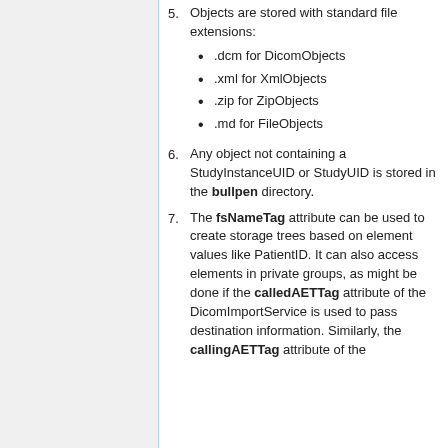5. Objects are stored with standard file extensions: .dcm for DicomObjects, .xml for XmlObjects, .zip for ZipObjects, .md for FileObjects
6. Any object not containing a StudyInstanceUID or StudyUID is stored in the bullpen directory.
7. The fsNameTag attribute can be used to create storage trees based on element values like PatientID. It can also access elements in private groups, as might be done if the calledAETTag attribute of the DicomImportService is used to pass destination information. Similarly, the callingAETTag attribute of the